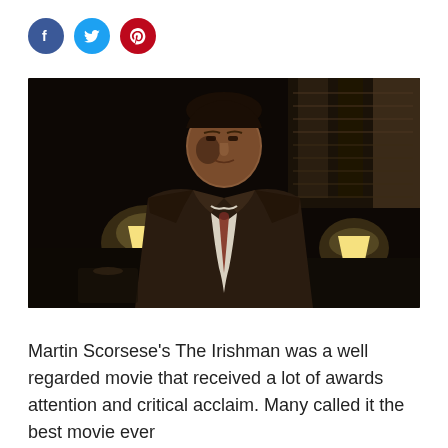[Figure (other): Three social media icon circles: Facebook (blue), Twitter (light blue), Pinterest (red)]
[Figure (photo): Film still from The Irishman: a man in a brown suit and tie sitting in a dimly lit room with lamps in the background]
Martin Scorsese's The Irishman was a well regarded movie that received a lot of awards attention and critical acclaim. Many called it the best movie ever